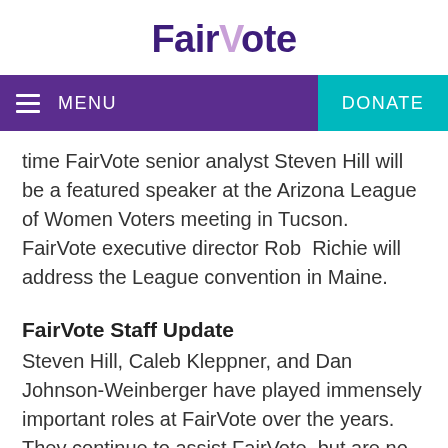FairVote
MENU
DONATE
time FairVote senior analyst Steven Hill will be a featured speaker at the Arizona League of Women Voters meeting in Tucson. FairVote executive director Rob  Richie will address the League convention in Maine.
FairVote Staff Update
Steven Hill, Caleb Kleppner, and Dan Johnson-Weinberger have played immensely important roles at FairVote over the years. They continue to assist FairVote, but are no